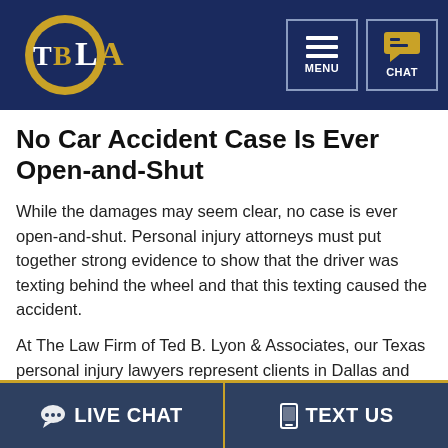TBLA — The Law Firm of Ted B. Lyon & Associates | MENU | CHAT
No Car Accident Case Is Ever Open-and-Shut
While the damages may seem clear, no case is ever open-and-shut. Personal injury attorneys must put together strong evidence to show that the driver was texting behind the wheel and that this texting caused the accident.
At The Law Firm of Ted B. Lyon & Associates, our Texas personal injury lawyers represent clients in Dallas and the surrounding areas in a broad range of complex auto accident claims,
LIVE CHAT | TEXT US